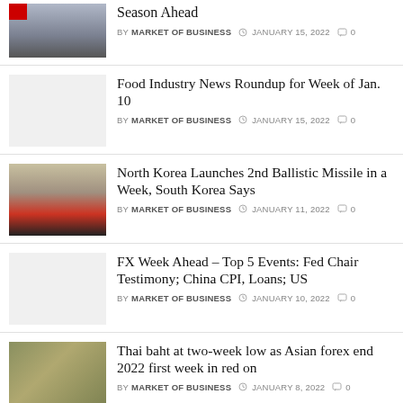Season Ahead
BY MARKET OF BUSINESS  JANUARY 15, 2022  0
Food Industry News Roundup for Week of Jan. 10
BY MARKET OF BUSINESS  JANUARY 15, 2022  0
North Korea Launches 2nd Ballistic Missile in a Week, South Korea Says
BY MARKET OF BUSINESS  JANUARY 11, 2022  0
FX Week Ahead – Top 5 Events: Fed Chair Testimony; China CPI, Loans; US
BY MARKET OF BUSINESS  JANUARY 10, 2022  0
Thai baht at two-week low as Asian forex end 2022 first week in red on
BY MARKET OF BUSINESS  JANUARY 8, 2022  0
Another 205,000 individuals likely filed new claims last week